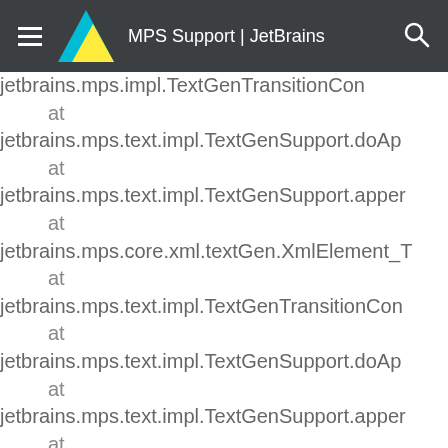MPS Support | JetBrains
jetbrains.mps.impl.TextGenTransitionCon
    at
jetbrains.mps.text.impl.TextGenSupport.doAp
    at
jetbrains.mps.text.impl.TextGenSupport.apper
    at
jetbrains.mps.core.xml.textGen.XmlElement_T
    at
jetbrains.mps.text.impl.TextGenTransitionCon
    at
jetbrains.mps.text.impl.TextGenSupport.doAp
    at
jetbrains.mps.text.impl.TextGenSupport.apper
    at
jetbrains.mps.core.xml.textGen.XmlElement_T
    at